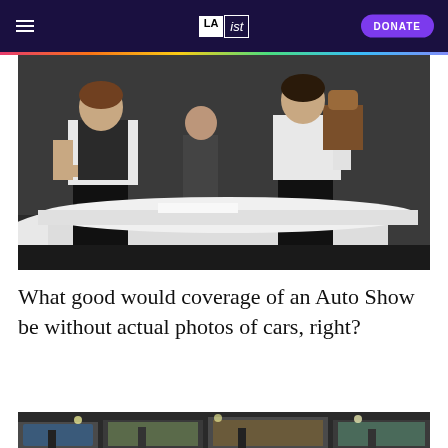LAist — DONATE
[Figure (photo): Two women standing at what appears to be an auto show venue counter. The woman on the left wears a white shirt and dark vest with black pants; the woman on the right wears a white shirt and carries a brown handbag, wearing dark pants.]
What good would coverage of an Auto Show be without actual photos of cars, right?
[Figure (photo): Partial view of a second photo at the bottom of the page, appears to show an auto show floor with cars and people.]